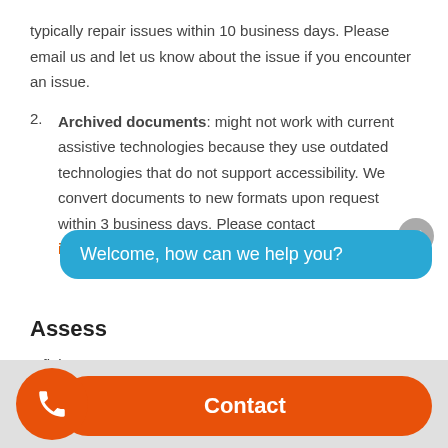typically repair issues within 10 business days. Please email us and let us know about the issue if you encounter an issue.
Archived documents: might not work with current assistive technologies because they use outdated technologies that do not support accessibility. We convert documents to new formats upon request within 3 business days. Please contact infinityheatingac@gmail.com for support.
Assess
Infinity
[Figure (screenshot): Chat widget overlay showing 'Welcome, how can we help you?' bubble in blue, with an orange Contact button and phone button at bottom, and a close (X) button.]